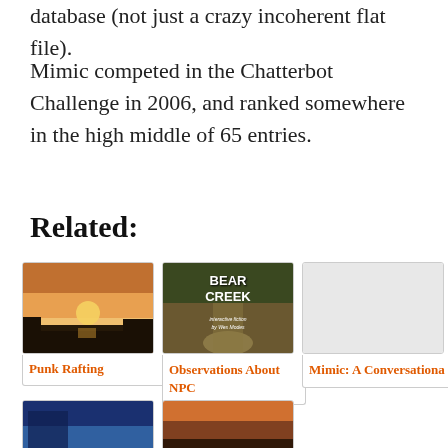database (not just a crazy incoherent flat file).
Mimic competed in the Chatterbot Challenge in 2006, and ranked somewhere in the high middle of 65 entries.
Related:
[Figure (photo): Sunset over a lake or river with silhouetted trees and reflections on the water]
Punk Rafting
[Figure (photo): Bear Creek interactive fiction book cover with wooded path background, text reads BEAR CREEK interactive fiction by Wes Modes]
Observations About NPC
[Figure (photo): Gray/blank placeholder image]
Mimic: A Conversationa
[Figure (photo): Blue toned photo, partially visible]
[Figure (photo): Sunset/dusk photo, partially visible]